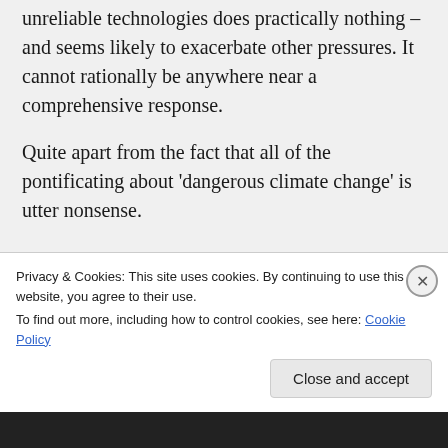unreliable technologies does practically nothing – and seems likely to exacerbate other pressures. It cannot rationally be anywhere near a comprehensive response.
Quite apart from the fact that all of the pontificating about ‘dangerous climate change’ is utter nonsense.
e.g. –
https://scienceofdoom.com/2015/09/01/renewables-viii-transmission-costs-and...
Privacy & Cookies: This site uses cookies. By continuing to use this website, you agree to their use.
To find out more, including how to control cookies, see here: Cookie Policy
Close and accept